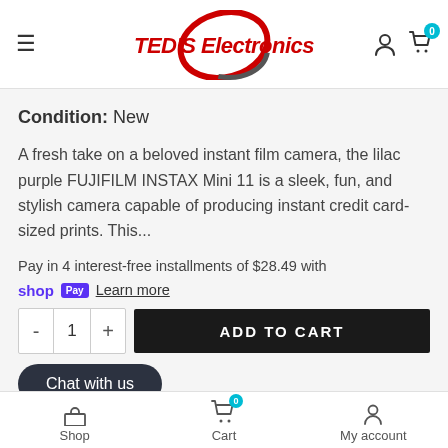[Figure (logo): TED'S Electronics logo with red swoosh/oval graphic and red italic bold text]
Condition: New
A fresh take on a beloved instant film camera, the lilac purple FUJIFILM INSTAX Mini 11 is a sleek, fun, and stylish camera capable of producing instant credit card-sized prints. This...
Pay in 4 interest-free installments of $28.49 with shop Pay  Learn more
ADD TO CART
Chat with us
Shop  Cart  My account